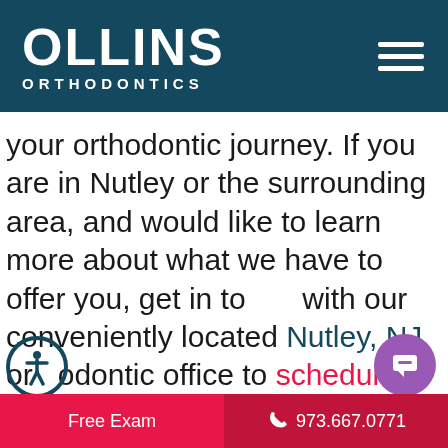OLLINS ORTHODONTICS
your orthodontic journey. If you are in Nutley or the surrounding area, and would like to learn more about what we have to offer you, get in touch with our conveniently located Nutley, NJ orthodontic office to schedule a complimentary consultation with us. A straighter, healthier smile could be just around the corner!
Free Exam | 973.667.0771